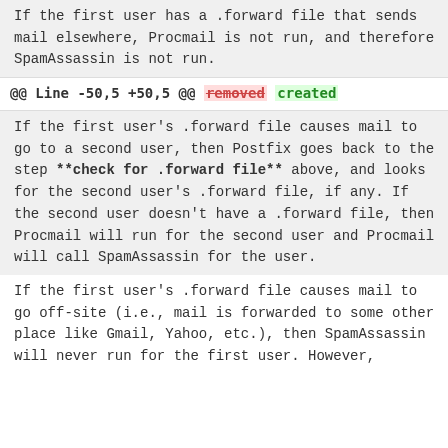If the first user has a .forward file that sends mail elsewhere, Procmail is not run, and therefore SpamAssassin is not run.
@@ Line -50,5 +50,5 @@ removed created
If the first user's .forward file causes mail to go to a second user, then Postfix goes back to the step **check for .forward file** above, and looks for the second user's .forward file, if any. If the second user doesn't have a .forward file, then Procmail will run for the second user and Procmail will call SpamAssassin for the user.
If the first user's .forward file causes mail to go off-site (i.e., mail is forwarded to some other place like Gmail, Yahoo, etc.), then SpamAssassin will never run for the first user. However,